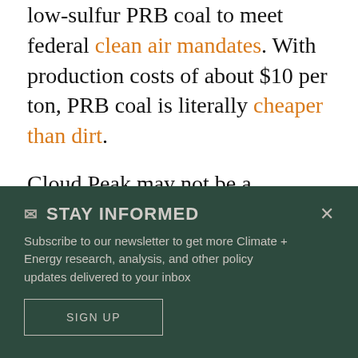low-sulfur PRB coal to meet federal clean air mandates. With production costs of about $10 per ton, PRB coal is literally cheaper than dirt.
Cloud Peak may not be a household name but it ranks as the third-largest coal company in the US by sales volume, boasting utility customers all across the country. The conservatively run company
✉ STAY INFORMED
Subscribe to our newsletter to get more Climate + Energy research, analysis, and other policy updates delivered to your inbox
SIGN UP